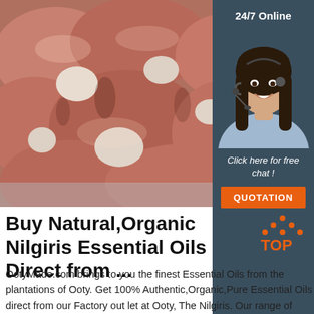[Figure (photo): Close-up photo of raw meat/bone pieces, pinkish-red coloring, packed together]
[Figure (photo): Sidebar with customer service agent woman wearing headset, smiling, on dark blue-grey background with '24/7 Online' text, 'Click here for free chat!' text and orange QUOTATION button]
Buy Natural,Organic Nilgiris Essential Oils Direct from ...
OotyMade.com brings to you the finest Essential Oils from the plantations of Ooty. Get 100% Authentic,Organic,Pure Essential Oils direct from our Factory out let at Ooty, The Nilgiris. Our range of Listed Essential oils are Gaultheria Oil, Eucalyptus Oil, Citriodora Oil, Citronella Oil, Olive Oil, Lemongrass Oil, Rose Oil, Rosemary Oil, Sandal ...